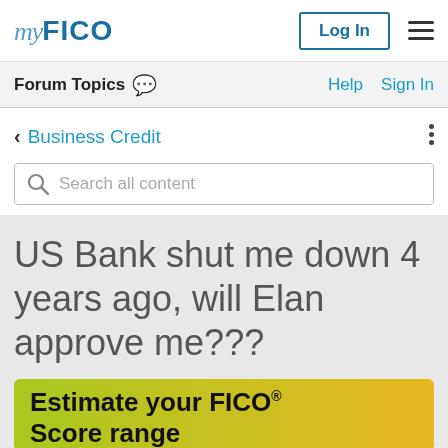myFICO — Log In — menu
Forum Topics — Help — Sign In
< Business Credit
Search all content
US Bank shut me down 4 years ago, will Elan approve me???
[Figure (infographic): Advertisement banner with gradient green-yellow background showing text: Estimate your FICO® Score range]